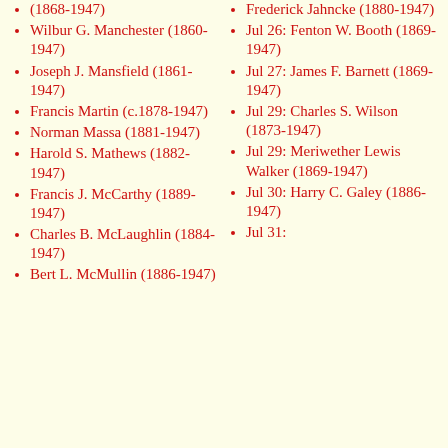(1868-1947)
Wilbur G. Manchester (1860-1947)
Joseph J. Mansfield (1861-1947)
Francis Martin (c.1878-1947)
Norman Massa (1881-1947)
Harold S. Mathews (1882-1947)
Francis J. McCarthy (1889-1947)
Charles B. McLaughlin (1884-1947)
Bert L. McMullin (1886-1947)
Frederick Jahncke (1880-1947)
Jul 26: Fenton W. Booth (1869-1947)
Jul 27: James F. Barnett (1869-1947)
Jul 29: Charles S. Wilson (1873-1947)
Jul 29: Meriwether Lewis Walker (1869-1947)
Jul 30: Harry C. Galey (1886-1947)
Jul 31: Harry D...